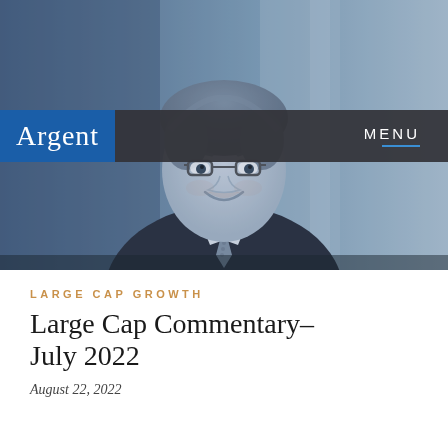[Figure (photo): Blue-tinted portrait photo of a smiling middle-aged man with glasses and grey hair, wearing a dark suit and tie, set against a blurred office background]
Argent | MENU
LARGE CAP GROWTH
Large Cap Commentary- July 2022
August 22, 2022